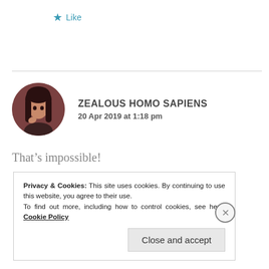★ Like
[Figure (photo): Circular avatar photo of user Zealous Homo Sapiens, showing a person with dark hair against a warm reddish-brown background]
ZEALOUS HOMO SAPIENS
20 Apr 2019 at 1:18 pm
That's impossible!
★ Like
Privacy & Cookies: This site uses cookies. By continuing to use this website, you agree to their use.
To find out more, including how to control cookies, see here: Cookie Policy
Close and accept